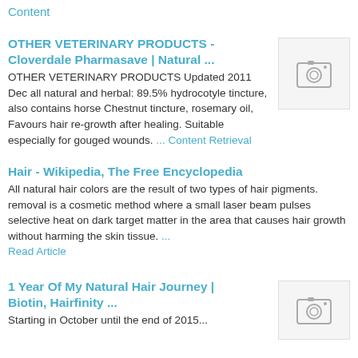Content
OTHER VETERINARY PRODUCTS - Cloverdale Pharmasave | Natural ...
OTHER VETERINARY PRODUCTS Updated 2011 Dec all natural and herbal: 89.5% hydrocotyle tincture, also contains horse Chestnut tincture, rosemary oil, Favours hair re-growth after healing. Suitable especially for gouged wounds. ... Content Retrieval
[Figure (photo): Placeholder thumbnail image with camera icon]
Hair - Wikipedia, The Free Encyclopedia
All natural hair colors are the result of two types of hair pigments. removal is a cosmetic method where a small laser beam pulses selective heat on dark target matter in the area that causes hair growth without harming the skin tissue. ... Read Article
1 Year Of My Natural Hair Journey | Biotin, Hairfinity ...
Starting in October until the end of 2015...
[Figure (photo): Placeholder thumbnail image with camera icon]